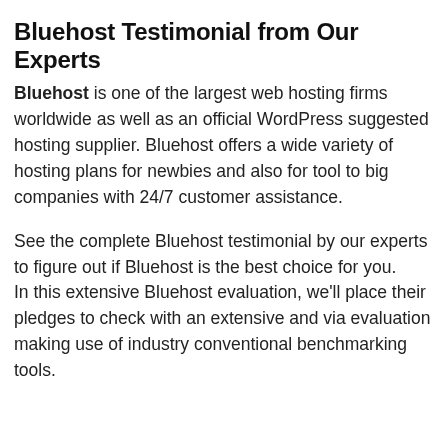Bluehost Testimonial from Our Experts
Bluehost is one of the largest web hosting firms worldwide as well as an official WordPress suggested hosting supplier. Bluehost offers a wide variety of hosting plans for newbies and also for tool to big companies with 24/7 customer assistance.
See the complete Bluehost testimonial by our experts to figure out if Bluehost is the best choice for you. In this extensive Bluehost evaluation, we’ll place their pledges to check with an extensive and via evaluation making use of industry conventional benchmarking tools.